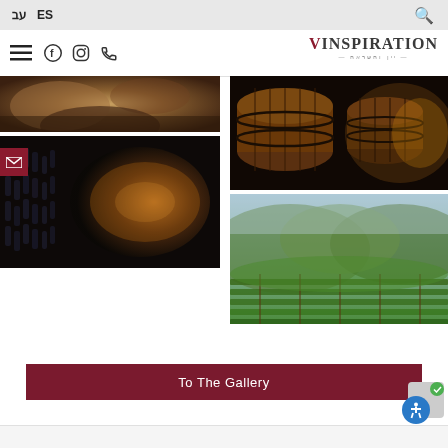עב  ES  [search icon]
VINSPIRATION [hamburger menu] [facebook] [instagram] [phone]
[Figure (photo): Stone cave / rocky terrain photo (top left, partial)]
[Figure (photo): Cave with wine bottles stacked in rows, illuminated by warm light]
[Figure (photo): Wine barrels in a cellar tunnel with warm lighting]
[Figure (photo): Green vineyard landscape with mountains in background]
To The Gallery